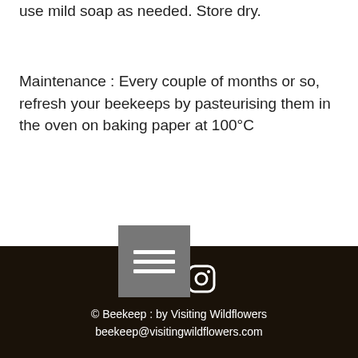use mild soap as needed. Store dry.
Maintenance : Every couple of months or so, refresh your beekeeps by pasteurising them in the oven on baking paper at 100°C
With care & good use your BeeKeep should last the year & beyond. At the very end of its time, integrate through the compost & replace.
© Beekeep : by Visiting Wildflowers
beekeep@visitingwildflowers.com